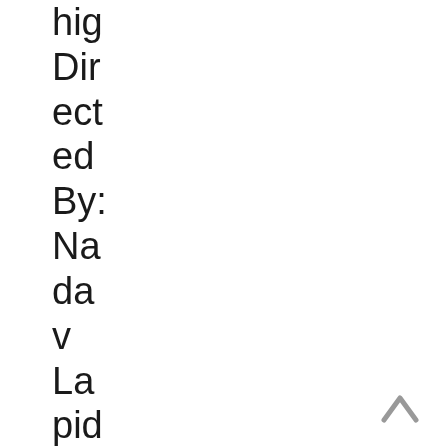hig Dir ect ed By: Na da v La pid Ma ste r sev ent y fiv
[Figure (illustration): An upward-pointing chevron/caret navigation arrow icon in gray, positioned at the bottom right of the page.]